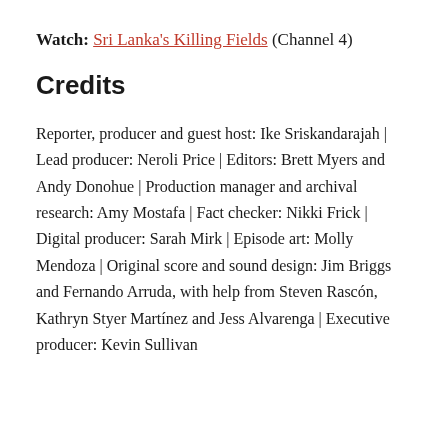Watch: Sri Lanka's Killing Fields (Channel 4)
Credits
Reporter, producer and guest host: Ike Sriskandarajah | Lead producer: Neroli Price | Editors: Brett Myers and Andy Donohue | Production manager and archival research: Amy Mostafa | Fact checker: Nikki Frick | Digital producer: Sarah Mirk | Episode art: Molly Mendoza | Original score and sound design: Jim Briggs and Fernando Arruda, with help from Steven Rascón, Kathryn Styer Martínez and Jess Alvarenga | Executive producer: Kevin Sullivan